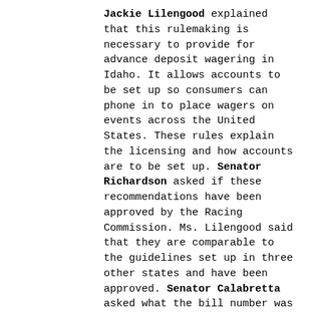Jackie Lilengood explained that this rulemaking is necessary to provide for advance deposit wagering in Idaho. It allows accounts to be set up so consumers can phone in to place wagers on events across the United States. These rules explain the licensing and how accounts are to be set up. Senator Richardson asked if these recommendations have been approved by the Racing Commission. Ms. Lilengood said that they are comparable to the guidelines set up in three other states and have been approved. Senator Calabretta asked what the bill number was of the legislation this resulted from. Ms. Lilengood was not sure but said it is part of Statute 54-25-12. Ms. Lilengood stated that as she works in conjunction with the State